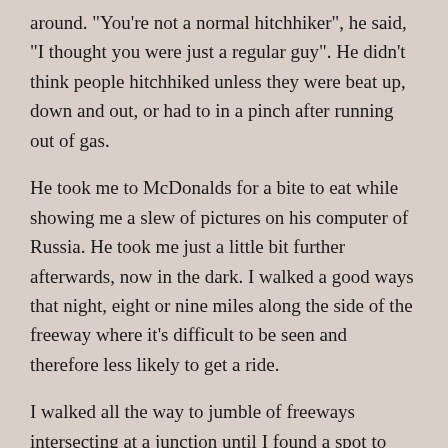around. "You're not a normal hitchhiker", he said, "I thought you were just a regular guy". He didn't think people hitchhiked unless they were beat up, down and out, or had to in a pinch after running out of gas.
He took me to McDonalds for a bite to eat while showing me a slew of pictures on his computer of Russia. He took me just a little bit further afterwards, now in the dark. I walked a good ways that night, eight or nine miles along the side of the freeway where it's difficult to be seen and therefore less likely to get a ride.
I walked all the way to jumble of freeways intersecting at a junction until I found a spot to duck down off the freeway and into the woods where I could camp for the night.
I got to walking in the morning, catching a ride into Kentucky just a little ways right away. Next I was picked